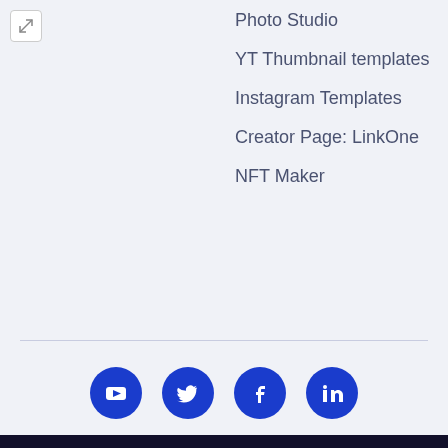Photo Studio
YT Thumbnail templates
Instagram Templates
Creator Page: LinkOne
NFT Maker
[Figure (illustration): Four circular blue social media icons: YouTube, Twitter, Facebook, LinkedIn]
This website uses cookies to ensure you get the best experience with SocialBook. Learn more
Got it